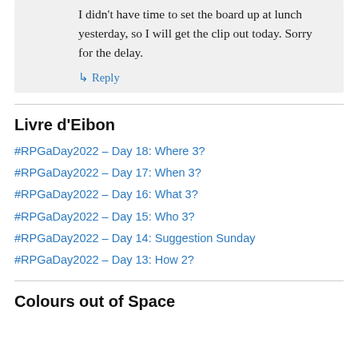I didn't have time to set the board up at lunch yesterday, so I will get the clip out today. Sorry for the delay.
↳ Reply
Livre d'Eibon
#RPGaDay2022 – Day 18: Where 3?
#RPGaDay2022 – Day 17: When 3?
#RPGaDay2022 – Day 16: What 3?
#RPGaDay2022 – Day 15: Who 3?
#RPGaDay2022 – Day 14: Suggestion Sunday
#RPGaDay2022 – Day 13: How 2?
Colours out of Space